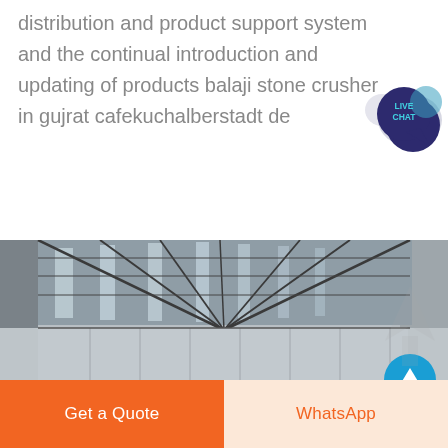distribution and product support system and the continual introduction and updating of products balaji stone crusher in gujrat cafekuchalberstadt de
[Figure (photo): Interior view of a large industrial warehouse or factory building with steel roof trusses and corrugated metal walls/ceiling. The image shows the structural framework of the building from inside.]
Get a Quote
WhatsApp